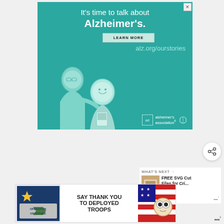[Figure (illustration): Alzheimer's Association advertisement banner with teal background. Shows illustration of two elderly people talking. Text reads: It's time to talk about Alzheimer's. LEARN MORE. alz.org/ourstories. Alzheimer's association logo with 'ad' badge.]
[Figure (infographic): Share button (circular white button with share icon)]
[Figure (infographic): WHAT'S NEXT widget showing thumbnail and text: FREE SVG Cut Files for Cri...]
[Figure (infographic): Operation Gratitude advertisement: SAY THANK YOU TO DEPLOYED TROOPS. Shows Operation Gratitude logo and patriotic imagery.]